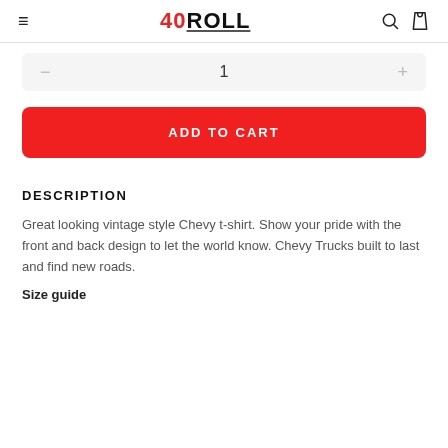40ROLL (logo with hamburger menu, search, and cart icons)
1 (quantity selector with minus and plus buttons)
ADD TO CART
DESCRIPTION
Great looking vintage style Chevy t-shirt. Show your pride with the front and back design to let the world know. Chevy Trucks built to last and find new roads.
Size guide